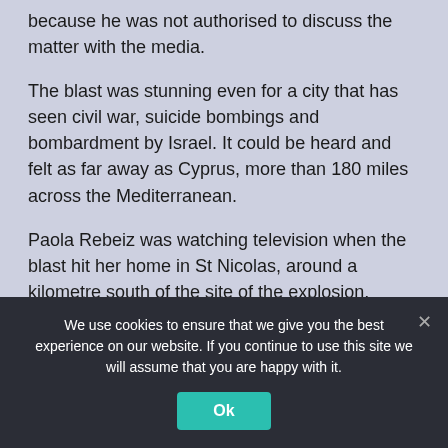because he was not authorised to discuss the matter with the media.
The blast was stunning even for a city that has seen civil war, suicide bombings and bombardment by Israel. It could be heard and felt as far away as Cyprus, more than 180 miles across the Mediterranean.
Paola Rebeiz was watching television when the blast hit her home in St Nicolas, around a kilometre south of the site of the explosion, shattering all of her windows.
“People have died on my street… my neighbours told me not to go down to the ground because there are dead
We use cookies to ensure that we give you the best experience on our website. If you continue to use this site we will assume that you are happy with it.